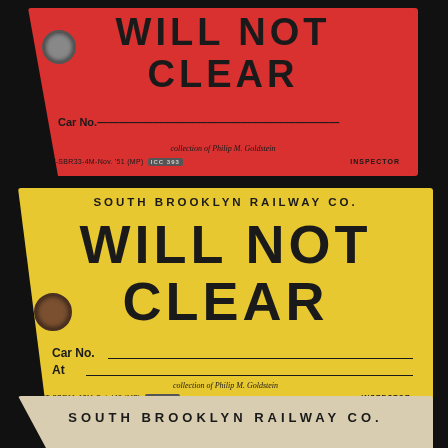[Figure (photo): Red railway tag for South Brooklyn Railway Co. with text 'WILL NOT CLEAR', Car No. field, collection of Philip M. Goldstein notation, form number BTT-SBR33-4M-Nov. '51 (MP) 393, INSPECTOR]
[Figure (photo): Yellow railway tag for South Brooklyn Railway Co. with text 'WILL NOT CLEAR', Car No. and At fields, collection of Philip M. Goldstein notation, form number BTT-SBR11-10M-Oct. '48 (MP) 393, INSPECTOR]
[Figure (photo): Beige/tan railway tag (partial) for South Brooklyn Railway Co., top portion visible]